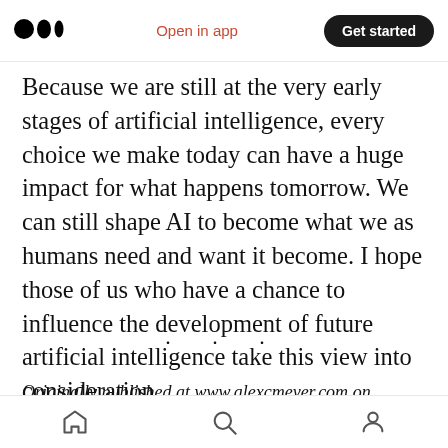Medium logo | Open in app | Get started
Because we are still at the very early stages of artificial intelligence, every choice we make today can have a huge impact for what happens tomorrow. We can still shape AI to become what we as humans need and want it become. I hope those of us who have a chance to influence the development of future artificial intelligence take this view into consideration.
. . .
Originally published at www.alexcmeyer.com on
Home | Search | Profile